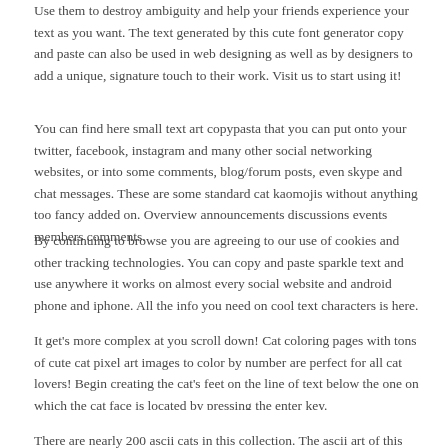Use them to destroy ambiguity and help your friends experience your text as you want. The text generated by this cute font generator copy and paste can also be used in web designing as well as by designers to add a unique, signature touch to their work. Visit us to start using it!
You can find here small text art copypasta that you can put onto your twitter, facebook, instagram and many other social networking websites, or into some comments, blog/forum posts, even skype and chat messages. These are some standard cat kaomojis without anything too fancy added on. Overview announcements discussions events members comments.
By continuing to browse you are agreeing to our use of cookies and other tracking technologies. You can copy and paste sparkle text and use anywhere it works on almost every social website and android phone and iphone. All the info you need on cool text characters is here.
It get's more complex at you scroll down! Cat coloring pages with tons of cute cat pixel art images to color by number are perfect for all cat lovers! Begin creating the cat's feet on the line of text below the one on which the cat face is located by pressing the enter key.
There are nearly 200 ascii cats in this collection. The ascii art of this website has been created by many different artists and credit has been given where the